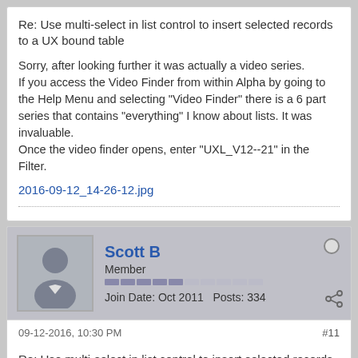Re: Use multi-select in list control to insert selected records to a UX bound table
Sorry, after looking further it was actually a video series.
If you access the Video Finder from within Alpha by going to the Help Menu and selecting "Video Finder" there is a 6 part series that contains "everything" I know about lists. It was invaluable.
Once the video finder opens, enter "UXL_V12--21" in the Filter.
2016-09-12_14-26-12.jpg
Scott B
Member
Join Date: Oct 2011   Posts: 334
09-12-2016, 10:30 PM
#11
Re: Use multi-select in list control to insert selected records to a UX bound table
Thanks so much Jeremy. That's my new favorite Alpha video series! LOTS of information.
Some continuation text about list or Alpha P...